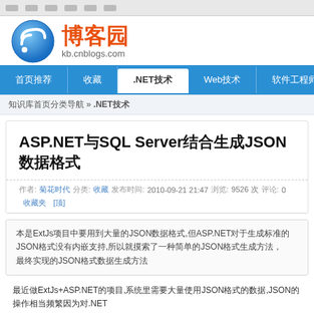博客园 kb.cnblogs.com
ASP.NET与SQL Server结合生成JSON数据格式
作者: 菊花时代  分类: 收藏  发布时间: 2010-09-21 21:47  浏览: 9526 次  评论: 0  收藏夹  [顶]
本是ExtJs项目中要用到大量的JSON数据格式,但ASP.NET对于生成标准的JSON格式没有内嵌支持,所以就摸索了一种简单的JSON格式生成方法
最近做ExtJs+ASP.NET的项目,系统里需要大量使用JSON格式的数据,JSON的操作相当频繁因为对.NET